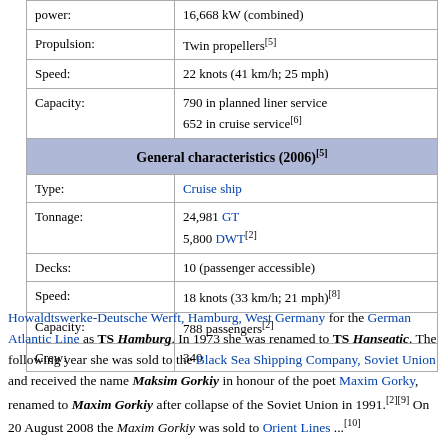| Property | Value |
| --- | --- |
| power: | 16,668 kW (combined) |
| Propulsion: | Twin propellers[5] |
| Speed: | 22 knots (41 km/h; 25 mph) |
| Capacity: | 790 in planned liner service
652 in cruise service[6] |
| General characteristics (2006)[5] |  |
| Type: | Cruise ship |
| Tonnage: | 24,981 GT
5,800 DWT[2] |
| Decks: | 10 (passenger accessible) |
| Speed: | 18 knots (33 km/h; 21 mph)[8] |
| Capacity: | 788 passengers[2] |
| Crew: | 340 |
Howaldtswerke-Deutsche Werft, Hamburg, West Germany for the German Atlantic Line as TS Hamburg. In 1973 she was renamed to TS Hanseatic. The following year she was sold to the Black Sea Shipping Company, Soviet Union and received the name Maksim Gorkiy in honour of the poet Maxim Gorky, renamed to Maxim Gorkiy after collapse of the Soviet Union in 1991.[2][9] On 20 August 2008 the Maxim Gorkiy was sold to Orient Lines...